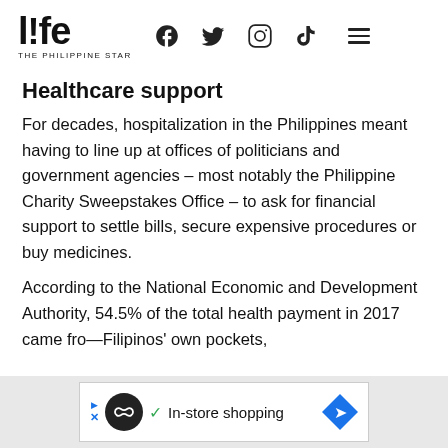life THE PHILIPPINE STAR
Healthcare support
For decades, hospitalization in the Philippines meant having to line up at offices of politicians and government agencies – most notably the Philippine Charity Sweepstakes Office – to ask for financial support to settle bills, secure expensive procedures or buy medicines.
According to the National Economic and Development Authority, 54.5% of the total health payment in 2017 came from Filipinos' own pockets,
[Figure (other): Advertisement banner showing an in-store shopping ad with logo, checkmark, and navigation arrow]